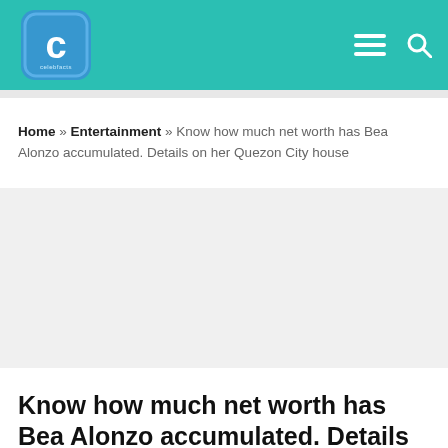CelebFacts logo, hamburger menu, search icon
Home » Entertainment » Know how much net worth has Bea Alonzo accumulated. Details on her Quezon City house
[Figure (other): Gray advertisement or image placeholder area]
Know how much net worth has Bea Alonzo accumulated. Details on her Quezon City house